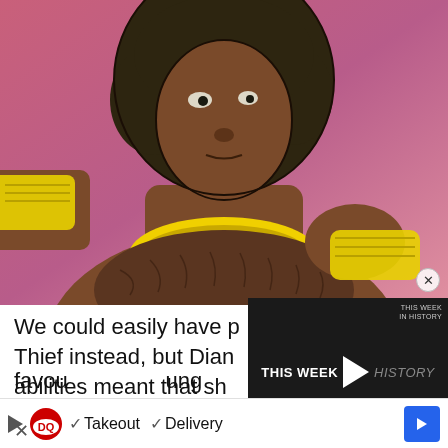[Figure (screenshot): Screenshot of a webpage showing a cartoon animated character — a muscular dark-skinned character with curly dark hair, wearing a gold/yellow collar necklace and yellow armband, holding a brown fur garment, against a pink/purple background. Below is partially visible article text overlaid by a video player widget and an advertisement bar.]
We could easily have p Thief instead, but Dian abilities meant that sh
favou ung
[Figure (screenshot): Video overlay widget with dark background showing 'THIS WEEK' on the left, a white play button triangle in the center, and 'HISTORY' in italic gray text on the right. Small text in the top right corner.]
[Figure (screenshot): Dairy Queen advertisement banner showing DQ logo, checkmarks next to 'Takeout' and 'Delivery' text, and a blue arrow button on the right. A play icon and X mark are also visible.]